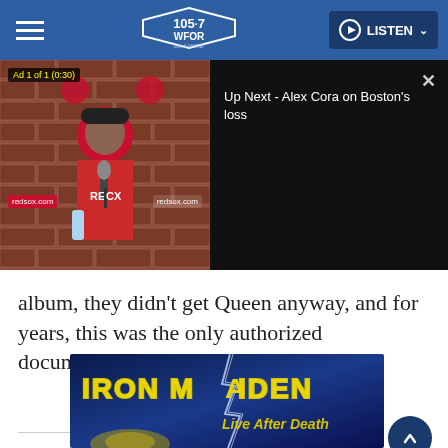105.7 WFOR | LISTEN
[Figure (screenshot): Video player showing a Red Sox press conference with Alex Cora, with an 'Ad 1 of 1 (0:30)' badge. Right panel shows 'Up Next - Alex Cora on Boston's loss' on black background with a close X button.]
album, they didn't get Queen anyway, and for years, this was the only authorized documentation of a Queen concert.
[Figure (photo): Iron Maiden 'Live After Death' album cover art with yellow stylized text on a dark blue background with lightning.]